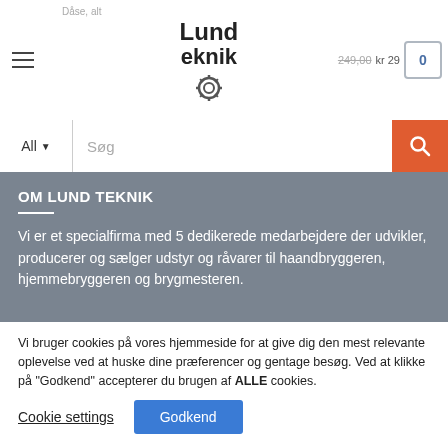[Figure (screenshot): Website header with hamburger menu, Lund Teknik logo with gear icon, product thumbnail, price text '249,00 kr 29', and shopping cart icon showing 0]
[Figure (screenshot): Search bar with 'All' dropdown and 'Søg' placeholder and orange search button]
OM LUND TEKNIK
Vi er et specialfirma med 5 dedikerede medarbejdere der udvikler, producerer og sælger udstyr og råvarer til haandbryggeren, hjemmebryggeren og brygmesteren.
Vi bruger cookies på vores hjemmeside for at give dig den mest relevante oplevelse ved at huske dine præferencer og gentage besøg. Ved at klikke på "Godkend" accepterer du brugen af ALLE cookies.
Cookie settings
Godkend